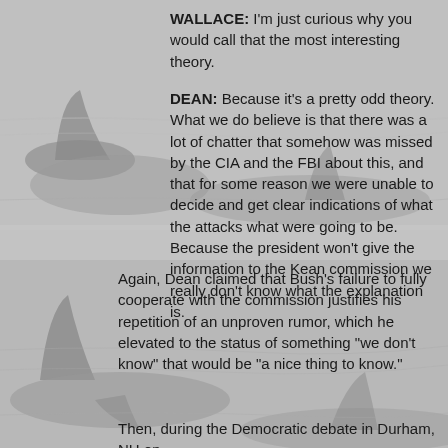[Figure (photo): Background image of orca killer whales in water, gray toned, spanning the full page in two sections.]
WALLACE: I'm just curious why you would call that the most interesting theory.
DEAN: Because it's a pretty odd theory. What we do believe is that there was a lot of chatter that somehow was missed by the CIA and the FBI about this, and that for some reason we were unable to decide and get clear indications of what the attacks what were going to be. Because the president won't give the information to the Kean commission we really don't know what the explanation is.
Again, Dean claimed that Bush's failure to fully cooperate with the commission justifies his repetition of an unproven rumor, which he elevated to the status of something "we don't know" that would be "a nice thing to know."
Then, during the Democratic debate in Durham, NH on